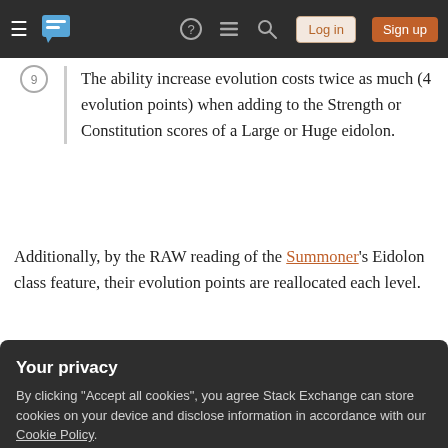Stack Exchange navigation bar with hamburger menu, logo, help, chat, search icons, Log in and Sign up buttons
The ability increase evolution costs twice as much (4 evolution points) when adding to the Strength or Constitution scores of a Large or Huge eidolon.
Additionally, by the RAW reading of the Summoner's Eidolon class feature, their evolution points are reallocated each level.
Whenever the summoner gains a level, he must
Your privacy
By clicking "Accept all cookies", you agree Stack Exchange can store cookies on your device and disclose information in accordance with our Cookie Policy.
Accept all cookies
Customize settings
does this only increase the cost of future purchases of the